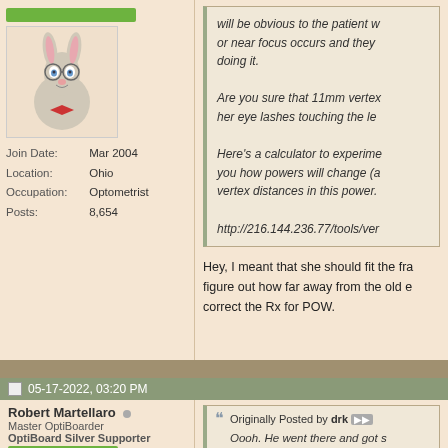[Figure (illustration): Bugs Bunny cartoon avatar image]
Join Date: Mar 2004
Location: Ohio
Occupation: Optometrist
Posts: 8,654
will be obvious to the patient w or near focus occurs and they doing it.

Are you sure that 11mm vertex her eye lashes touching the le

Here's a calculator to experime you how powers will change (a vertex distances in this power.

http://216.144.236.77/tools/ver
Hey, I meant that she should fit the fra figure out how far away from the old e correct the Rx for POW.
05-17-2022, 03:20 PM
Robert Martellaro
Master OptiBoarder
OptiBoard Silver Supporter
Join Date: Jul 2002
Location: Wauwatosa Wi
Originally Posted by drk
Oooh. He went there and got s done one of these in the past 1
Hi K